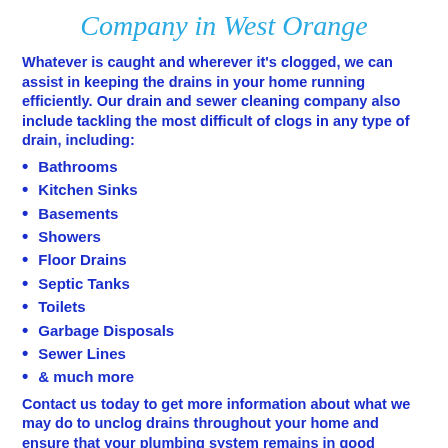Company in West Orange
Whatever is caught and wherever it's clogged, we can assist in keeping the drains in your home running efficiently. Our drain and sewer cleaning company also include tackling the most difficult of clogs in any type of drain, including:
Bathrooms
Kitchen Sinks
Basements
Showers
Floor Drains
Septic Tanks
Toilets
Garbage Disposals
Sewer Lines
& much more
Contact us today to get more information about what we may do to unclog drains throughout your home and ensure that your plumbing system remains in good condition, so your investment stays clean.